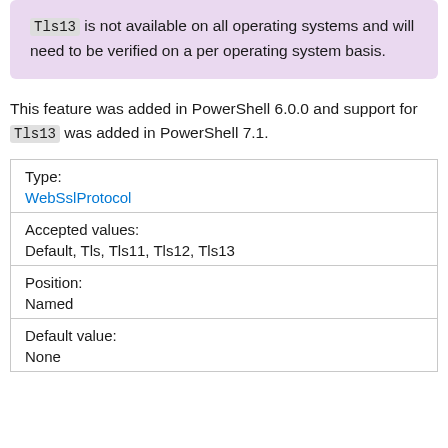Tls13 is not available on all operating systems and will need to be verified on a per operating system basis.
This feature was added in PowerShell 6.0.0 and support for Tls13 was added in PowerShell 7.1.
| Type: | WebSslProtocol |
| Accepted values: | Default, Tls, Tls11, Tls12, Tls13 |
| Position: | Named |
| Default value: | None |